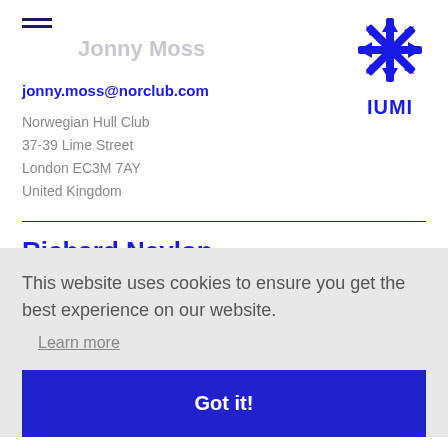Jonny Moss
[Figure (logo): IUMI snowflake/star logo in dark blue with IUMI text below]
jonny.moss@norclub.com
Norwegian Hull Club
37-39 Lime Street
London EC3M 7AY
United Kingdom
Richard Neylon
richard.n...
Phone: +44 (0)20 7264 8165
HFW
Friary Court
65 Crutched Friars
London EC3N 2AE
United Kingdom
This website uses cookies to ensure you get the best experience on our website.
Learn more
Got it!